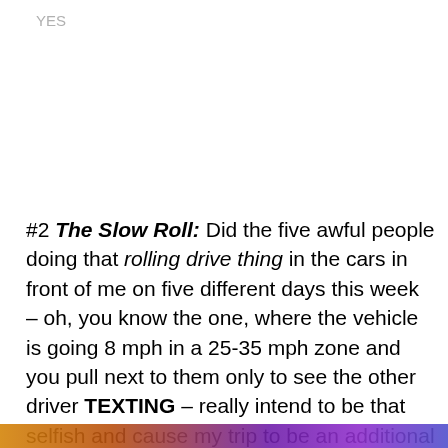YES
#2 The Slow Roll: Did the five awful people doing that rolling drive thing in the cars in front of me on five different days this week – oh, you know the one, where the vehicle is going 8 mph in a 25-35 mph zone and you pull next to them only to see the other driver TEXTING – really intend to be that selfish and cause my trip to be an additional two
Privacy & Cookies: This site uses cookies. By continuing to use this website, you agree to their use.
To find out more, including how to control cookies, see here: Cookie Policy
Close and accept